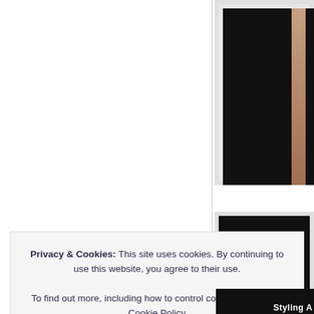[Figure (photo): Top right photo card — tall portrait photo with dark background and partial skin-tone figure on right edge]
[Figure (photo): Middle right photo card — square photo with dark background]
Privacy & Cookies: This site uses cookies. By continuing to use this website, you agree to their use.
To find out more, including how to control cookies, see here: Cookie Policy
Close and accept
[Figure (photo): Bottom right partial strip — dark image with 'Styling A' text visible]